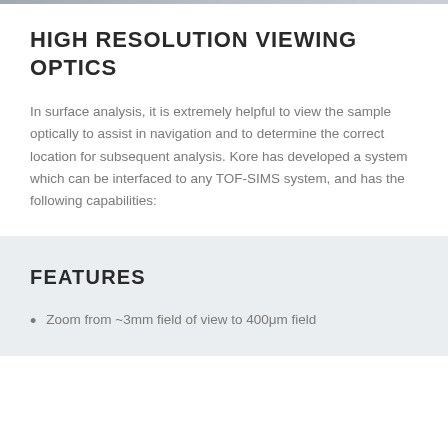HIGH RESOLUTION VIEWING OPTICS
In surface analysis, it is extremely helpful to view the sample optically to assist in navigation and to determine the correct location for subsequent analysis. Kore has developed a system which can be interfaced to any TOF-SIMS system, and has the following capabilities:
FEATURES
Zoom from ~3mm field of view to 400μm field